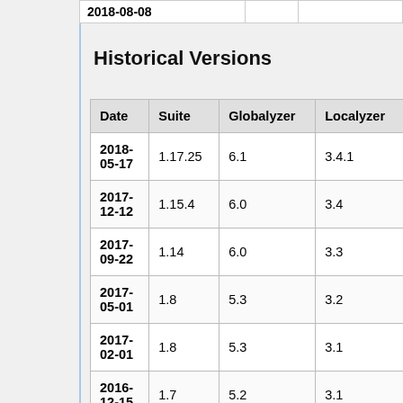| Date |  |  |  |
| --- | --- | --- | --- |
| 2018-08-08 |  |  |  |
Historical Versions
| Date | Suite | Globalyzer | Localyzer |
| --- | --- | --- | --- |
| 2018-05-17 | 1.17.25 | 6.1 | 3.4.1 |
| 2017-12-12 | 1.15.4 | 6.0 | 3.4 |
| 2017-09-22 | 1.14 | 6.0 | 3.3 |
| 2017-05-01 | 1.8 | 5.3 | 3.2 |
| 2017-02-01 | 1.8 | 5.3 | 3.1 |
| 2016-12-15 | 1.7 | 5.2 | 3.1 |